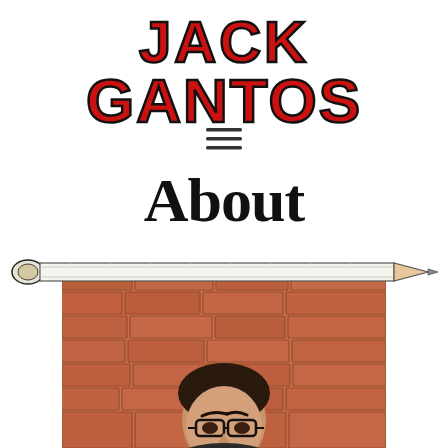JACK GANTOS
[Figure (illustration): Hamburger menu icon (three horizontal lines)]
About
[Figure (illustration): Cartoon pencil illustration spanning across the top of the photo]
[Figure (photo): Photo of Jack Gantos (man with dark hair and glasses) against a brick wall background]